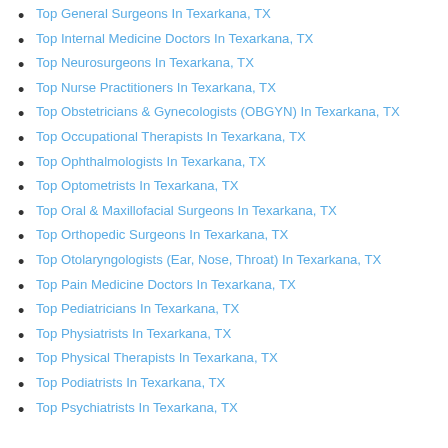Top General Surgeons In Texarkana, TX
Top Internal Medicine Doctors In Texarkana, TX
Top Neurosurgeons In Texarkana, TX
Top Nurse Practitioners In Texarkana, TX
Top Obstetricians & Gynecologists (OBGYN) In Texarkana, TX
Top Occupational Therapists In Texarkana, TX
Top Ophthalmologists In Texarkana, TX
Top Optometrists In Texarkana, TX
Top Oral & Maxillofacial Surgeons In Texarkana, TX
Top Orthopedic Surgeons In Texarkana, TX
Top Otolaryngologists (Ear, Nose, Throat) In Texarkana, TX
Top Pain Medicine Doctors In Texarkana, TX
Top Pediatricians In Texarkana, TX
Top Physiatrists In Texarkana, TX
Top Physical Therapists In Texarkana, TX
Top Podiatrists In Texarkana, TX
Top Psychiatrists In Texarkana, TX